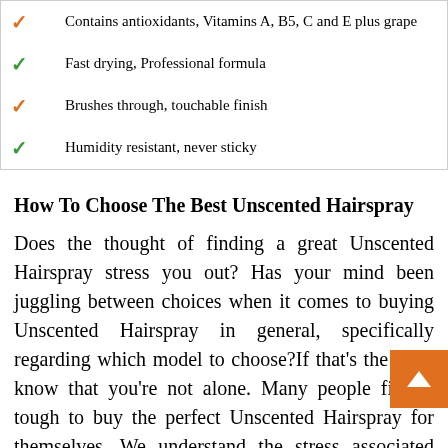✓ Contains antioxidants, Vitamins A, B5, C and E plus grape
✓ Fast drying, Professional formula
✓ Brushes through, touchable finish
✓ Humidity resistant, never sticky
How To Choose The Best Unscented Hairspray
Does the thought of finding a great Unscented Hairspray stress you out? Has your mind been juggling between choices when it comes to buying Unscented Hairspray in general, specifically regarding which model to choose?If that's the case, know that you're not alone. Many people find it tough to buy the perfect Unscented Hairspray for themselves. We understand the stress associated with the buying process!Since you're here, you are obviously